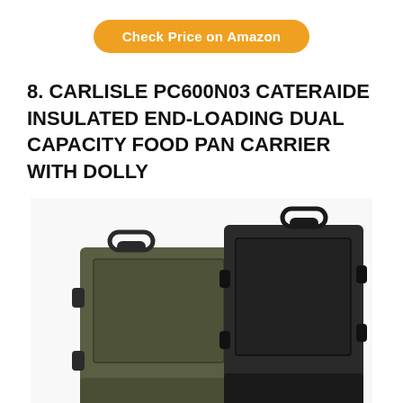Check Price on Amazon
8. CARLISLE PC600N03 CATERAIDE INSULATED END-LOADING DUAL CAPACITY FOOD PAN CARRIER WITH DOLLY
[Figure (photo): Two insulated food pan carriers side by side — one olive/army green on the left and one black on the right — both with handles on top and latches on the sides, mounted on a dolly.]